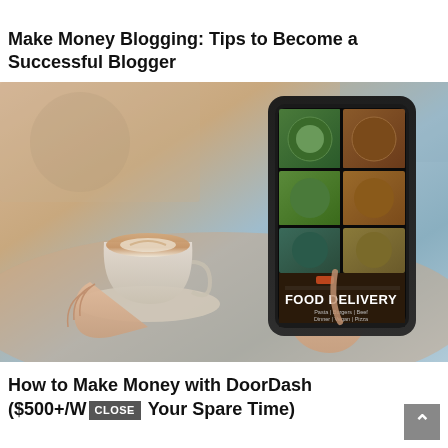Make Money Blogging: Tips to Become a Successful Blogger
[Figure (photo): Person holding a smartphone displaying a food delivery app with food images and the text FOOD DELIVERY, while also holding a coffee cup in a cafe setting. Background is blurred with warm tones.]
How to Make Money with DoorDash ($500+/W[CLOSE] Your Spare Time)